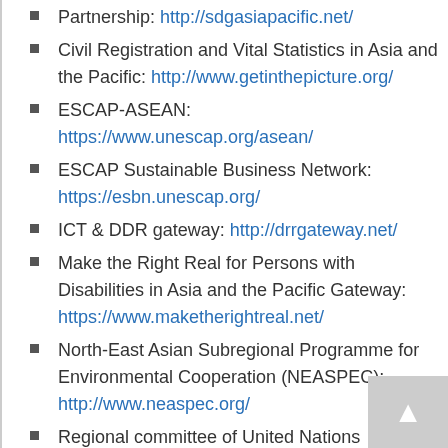Partnership: http://sdgasiapacific.net/
Civil Registration and Vital Statistics in Asia and the Pacific: http://www.getinthepicture.org/
ESCAP-ASEAN: https://www.unescap.org/asean/
ESCAP Sustainable Business Network: https://esbn.unescap.org/
ICT & DDR gateway: http://drrgateway.net/
Make the Right Real for Persons with Disabilities in Asia and the Pacific Gateway: https://www.maketherightreal.net/
North-East Asian Subregional Programme for Environmental Cooperation (NEASPEC): http://www.neaspec.org/
Regional committee of United Nations